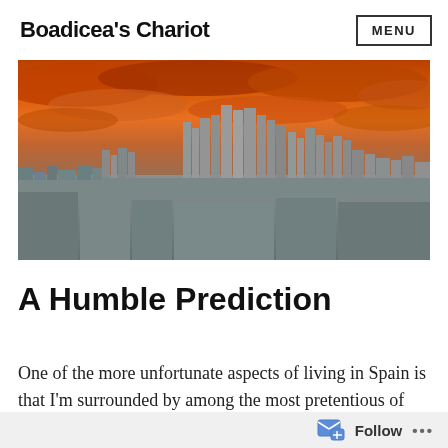Boadicea's Chariot | MENU
[Figure (photo): Wide panoramic cityscape photo of a city skyline (appears to be Madrid) under a dramatic orange and red cloudy sky at sunset/dusk. Tall modern skyscrapers in the center, lower buildings spreading out, taken from an elevated viewpoint.]
A Humble Prediction
One of the more unfortunate aspects of living in Spain is that I’m surrounded by among the most pretentious of expatriates. Earlier this
Follow ...